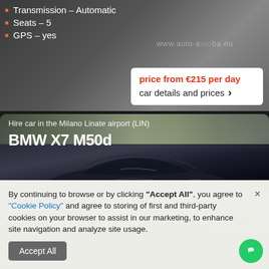Transmission – Automatic
Seats – 5
GPS – yes
price from €215 per day
car details and prices ›
Hire car in the Milano Linate airport (LIN)
BMW X7 M50d
[Figure (photo): Black BMW X7 M50d SUV photographed outdoors in front of a building with trees in background]
By continuing to browse or by clicking "Accept All", you agree to "Cookie Policy" and agree to storing of first and third-party cookies on your browser to assist in our marketing, to enhance site navigation and analyze site usage.
Accept All